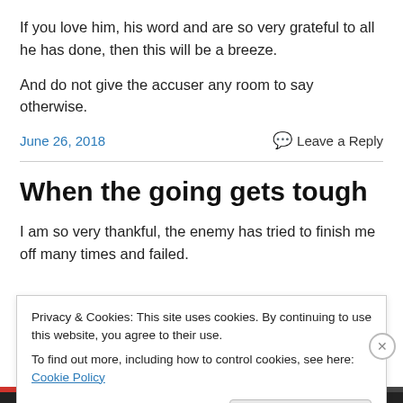If you love him, his word and are so very grateful to all he has done, then this will be a breeze.
And do not give the accuser any room to say otherwise.
June 26, 2018   Leave a Reply
When the going gets tough
I am so very thankful, the enemy has tried to finish me off many times and failed.
Privacy & Cookies: This site uses cookies. By continuing to use this website, you agree to their use.
To find out more, including how to control cookies, see here: Cookie Policy
Close and accept